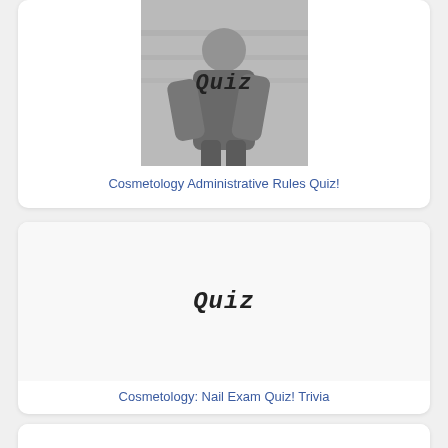[Figure (photo): Card with a photo of a person in a cosmetology setting with 'Quiz' text overlay in handwritten style font]
Cosmetology Administrative Rules Quiz!
[Figure (illustration): Card with a plain light background and 'Quiz' text in handwritten style font]
Cosmetology: Nail Exam Quiz! Trivia
[Figure (illustration): Partial card at bottom, content not visible]